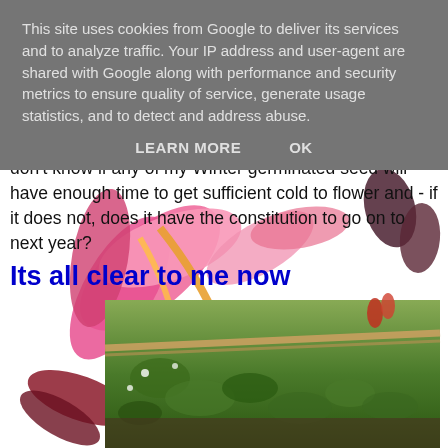This site uses cookies from Google to deliver its services and to analyze traffic. Your IP address and user-agent are shared with Google along with performance and security metrics to ensure quality of service, generate usage statistics, and to detect and address abuse.
LEARN MORE    OK
[Figure (photo): Pink cyclamen flowers with drooping petals and orange stems against a white background, with a garden photo of green plants and a wooden rail below]
don't know if any of my Winter germinated seed will have enough time to get sufficient cold to flower and - if it does not, does it have the constitution to go on to next year?
Its all clear to me now